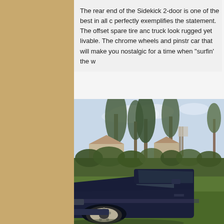The rear end of the Sidekick 2-door is one of the best in all c perfectly exemplifies the statement. The offset spare tire anc truck look rugged yet livable. The chrome wheels and pinstr car that will make you nostalgic for a time when "surfin' the w
[Figure (photo): A dark blue Suzuki Sidekick 2-door SUV parked on grass in a suburban neighborhood. Large eucalyptus trees and a hedge are visible in the background, along with houses. The vehicle is photographed from a front-side angle showing the hood, windshield, and passenger side.]